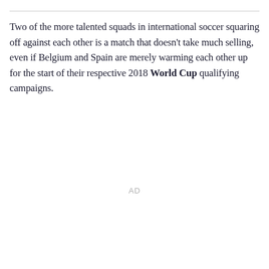Two of the more talented squads in international soccer squaring off against each other is a match that doesn't take much selling, even if Belgium and Spain are merely warming each other up for the start of their respective 2018 World Cup qualifying campaigns.
AD